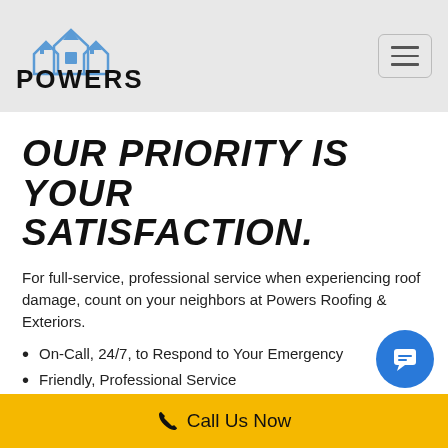[Figure (logo): Powers Roofing & Exteriors logo with blue roof/house graphic above bold black text 'POWERS' and 'ROOFING & EXTERIORS']
OUR PRIORITY IS YOUR SATISFACTION.
For full-service, professional service when experiencing roof damage, count on your neighbors at Powers Roofing & Exteriors.
On-Call, 24/7, to Respond to Your Emergency
Friendly, Professional Service
Licensed and Insured
Call Us Now